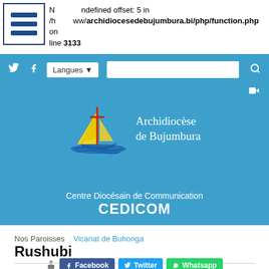Notice: Undefined offset: 5 in /home/www/archidiocesedebujumbura.bi/php/function.php on line 3133
[Figure (screenshot): Website header of Archidiocèse de Bujumbura with navigation bar, logo, and CEDICOM subtitle on blue background]
Nos Paroisses  Vicariat de Buhonga
Rushubi
Facebook  Twitter  Whatsapp